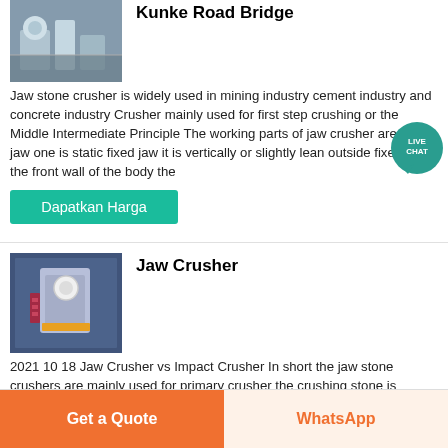Kunke Road Bridge
[Figure (photo): Photo of Kunke Road Bridge crushing equipment outdoors]
Jaw stone crusher is widely used in mining industry cement industry and concrete industry Crusher mainly used for first step crushing or the Middle Intermediate Principle The working parts of jaw crusher are two jaw one is static fixed jaw it is vertically or slightly lean outside fixed on the front wall of the body the
Dapatkan Harga
Jaw Crusher
[Figure (photo): Photo of a Jaw Crusher machine, white and red equipment]
2021 10 18 Jaw Crusher vs Impact Crusher In short the jaw stone crushers are mainly used for primary crusher the crushing stone is relatively large The types of crusher
Dapatkan Harga
Get a Quote   WhatsApp